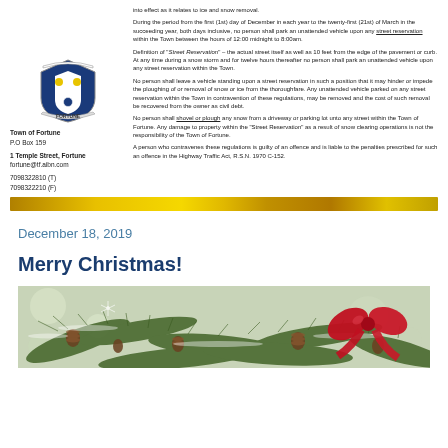[Figure (logo): Town of Fortune municipal crest/shield logo — blue and white shield with yellow roundels, ribbon banner reading FORTUNE]
into effect as it relates to ice and snow removal.
During the period from the first (1st) day of December in each year to the twenty-first (21st) of March in the succeeding year, both days inclusive, no person shall park an unattended vehicle upon any street reservation within the Town between the hours of 12:00 midnight to 8:00am.
Definition of "Street Reservation" – the actual street itself as well as 10 feet from the edge of the pavement or curb. At any time during a snow storm and for twelve hours thereafter no person shall park an unattended vehicle upon any street reservation within the Town.
Town of Fortune
P.O Box 159
1 Temple Street, Fortune
fortune@tf.aibn.com
7098322810 (T)
7098322210 (F)
No person shall leave a vehicle standing upon a street reservation in such a position that it may hinder or impede the ploughing of or removal of snow or ice from the thoroughfare. Any unattended vehicle parked on any street reservation within the Town in contravention of these regulations, may be removed and the cost of such removal be recovered from the owner as civil debt.
No person shall shovel or plough any snow from a driveway or parking lot unto any street within the Town of Fortune. Any damage to property within the "Street Reservation" as a result of snow clearing operations is not the responsibility of the Town of Fortune.
A person who contravenes these regulations is guilty of an offence and is liable to the penalties prescribed for such an offence in the Highway Traffic Act, R.S.N. 1970 C-152.
[Figure (other): Decorative gold/yellow horizontal bar divider]
December 18, 2019
Merry Christmas!
[Figure (photo): Christmas photo showing pine branches with pine cones and a red ribbon/bow ornament on a snowy background]